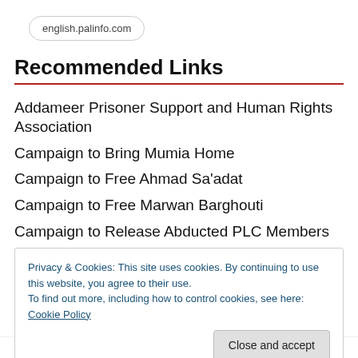english.palinfo.com
Recommended Links
Addameer Prisoner Support and Human Rights Association
Campaign to Bring Mumia Home
Campaign to Free Ahmad Sa'adat
Campaign to Free Marwan Barghouti
Campaign to Release Abducted PLC Members
Privacy & Cookies: This site uses cookies. By continuing to use this website, you agree to their use. To find out more, including how to control cookies, see here: Cookie Policy
Close and accept
Free Political Prisoners – Denmark